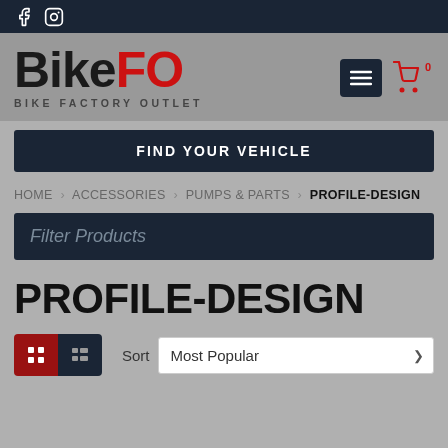f  [instagram icon]
[Figure (logo): BikeFO Bike Factory Outlet logo with menu button and cart icon]
FIND YOUR VEHICLE
HOME › ACCESSORIES › PUMPS & PARTS › PROFILE-DESIGN
Filter Products
PROFILE-DESIGN
Sort   Most Popular